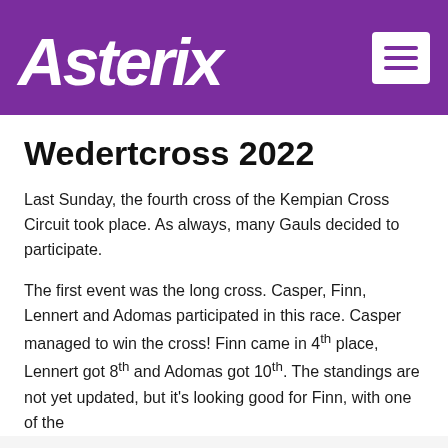Asterix
Wedertcross 2022
Last Sunday, the fourth cross of the Kempian Cross Circuit took place. As always, many Gauls decided to participate.
The first event was the long cross. Casper, Finn, Lennert and Adomas participated in this race. Casper managed to win the cross! Finn came in 4th place, Lennert got 8th and Adomas got 10th. The standings are not yet updated, but it's looking good for Finn, with one of the... [continues]